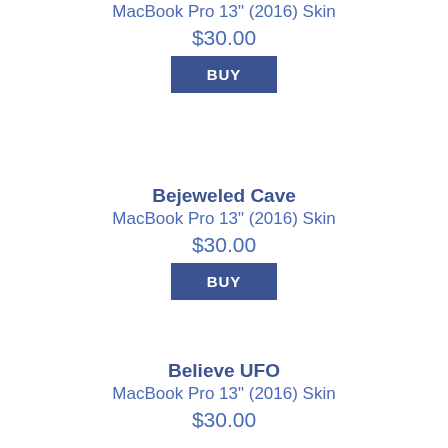MacBook Pro 13" (2016) Skin
$30.00
BUY
Bejeweled Cave
MacBook Pro 13" (2016) Skin
$30.00
BUY
Believe UFO
MacBook Pro 13" (2016) Skin
$30.00